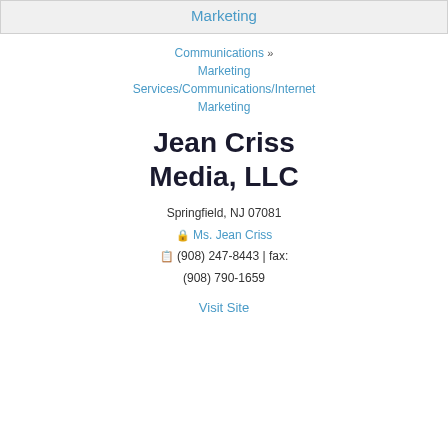Marketing
Communications >> Marketing Services/Communications/Internet Marketing
Jean Criss Media, LLC
Springfield, NJ 07081
Ms. Jean Criss
(908) 247-8443 | fax: (908) 790-1659
Visit Site